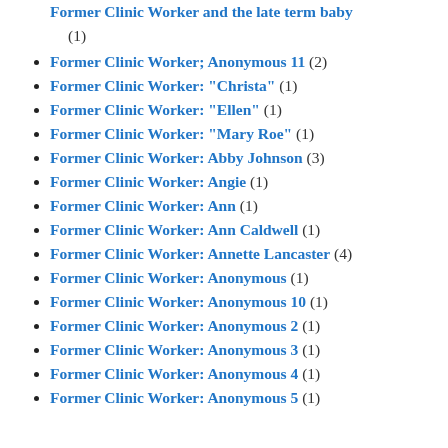Former Clinic Worker and the late term baby (1)
Former Clinic Worker; Anonymous 11 (2)
Former Clinic Worker: "Christa" (1)
Former Clinic Worker: "Ellen" (1)
Former Clinic Worker: "Mary Roe" (1)
Former Clinic Worker: Abby Johnson (3)
Former Clinic Worker: Angie (1)
Former Clinic Worker: Ann (1)
Former Clinic Worker: Ann Caldwell (1)
Former Clinic Worker: Annette Lancaster (4)
Former Clinic Worker: Anonymous (1)
Former Clinic Worker: Anonymous 10 (1)
Former Clinic Worker: Anonymous 2 (1)
Former Clinic Worker: Anonymous 3 (1)
Former Clinic Worker: Anonymous 4 (1)
Former Clinic Worker: Anonymous 5 (1)